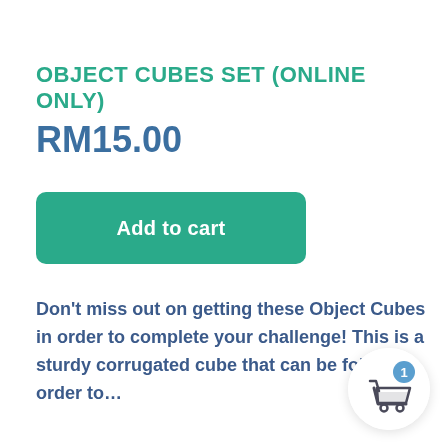OBJECT CUBES SET (ONLINE ONLY)
RM15.00
Add to cart
Don't miss out on getting these Object Cubes in order to complete your challenge! This is a sturdy corrugated cube that can be folded in order to…
[Figure (illustration): Shopping cart icon with badge showing count 1]